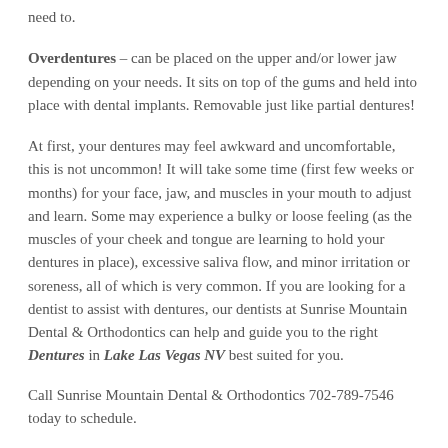need to.
Overdentures – can be placed on the upper and/or lower jaw depending on your needs. It sits on top of the gums and held into place with dental implants. Removable just like partial dentures!
At first, your dentures may feel awkward and uncomfortable, this is not uncommon! It will take some time (first few weeks or months) for your face, jaw, and muscles in your mouth to adjust and learn. Some may experience a bulky or loose feeling (as the muscles of your cheek and tongue are learning to hold your dentures in place), excessive saliva flow, and minor irritation or soreness, all of which is very common. If you are looking for a dentist to assist with dentures, our dentists at Sunrise Mountain Dental & Orthodontics can help and guide you to the right Dentures in Lake Las Vegas NV best suited for you.
Call Sunrise Mountain Dental & Orthodontics 702-789-7546 today to schedule.